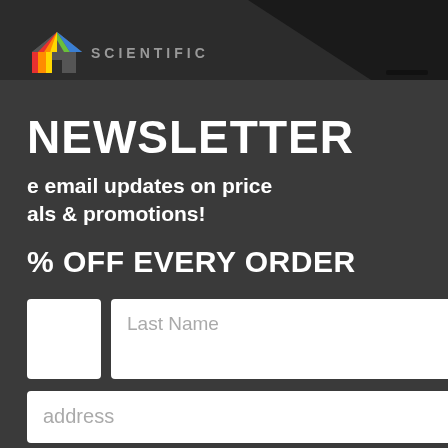[Figure (screenshot): Website screenshot showing a newsletter signup modal popup over a dark background. The modal has 'NEWSLETTER' as large heading, subtitle text about email updates on price deals and promotions, a discount offer, form fields for Last Name and email address, and a green Subscribe button. The underlying page shows white content boxes on the right side, a hamburger menu icon, and orange/yellow buttons at the bottom with a search bar.]
NEWSLETTER
e email updates on price als & promotions!
% OFF EVERY ORDER
Last Name
address
BSCRIBE
Search